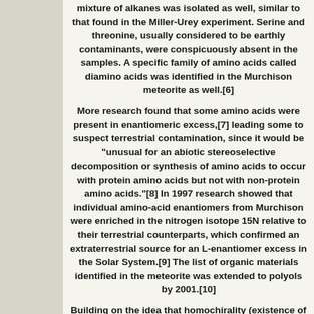mixture of alkanes was isolated as well, similar to that found in the Miller-Urey experiment. Serine and threonine, usually considered to be earthly contaminants, were conspicuously absent in the samples. A specific family of amino acids called diamino acids was identified in the Murchison meteorite as well.[6] More research found that some amino acids were present in enantiomeric excess,[7] leading some to suspect terrestrial contamination, since it would be "unusual for an abiotic stereoselective decomposition or synthesis of amino acids to occur with protein amino acids but not with non-protein amino acids."[8] In 1997 research showed that individual amino-acid enantiomers from Murchison were enriched in the nitrogen isotope 15N relative to their terrestrial counterparts, which confirmed an extraterrestrial source for an L-enantiomer excess in the Solar System.[9] The list of organic materials identified in the meteorite was extended to polyols by 2001.[10]
Building on the idea that homochirality (existence of only left-handed amino acids and right-handed sugars) is